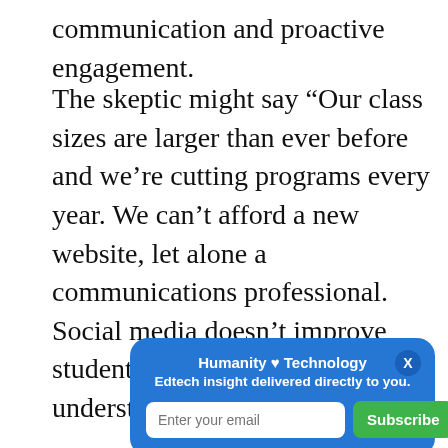communication and proactive engagement.
The skeptic might say “Our class sizes are larger than ever before and we’re cutting programs every year. We can’t afford a new website, let alone a communications professional. Social media doesn’t improve student achievement.” It’s an understandable con[...] ate the [...] ent invo[...] nd bran[...] e is aware of and committed to the same vision, you will become what your community and
[Figure (screenshot): Email subscription popup overlay with blue background. Title: 'Humanity ♥ Technology', subtitle: 'Edtech insight delivered directly to you.' Contains an email input field with placeholder 'Enter your email' and a green 'Subscribe' button. Has an X close button in top right corner.]